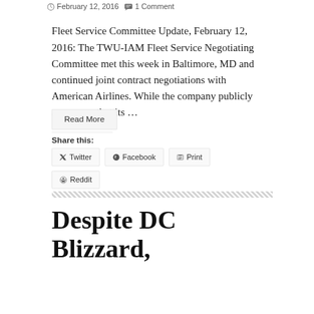February 12, 2016  1 Comment
Fleet Service Committee Update, February 12, 2016: The TWU-IAM Fleet Service Negotiating Committee met this week in Baltimore, MD and continued joint contract negotiations with American Airlines. While the company publicly assures us that its …
Read More
Share this:
Twitter
Facebook
Print
Reddit
Despite DC Blizzard,